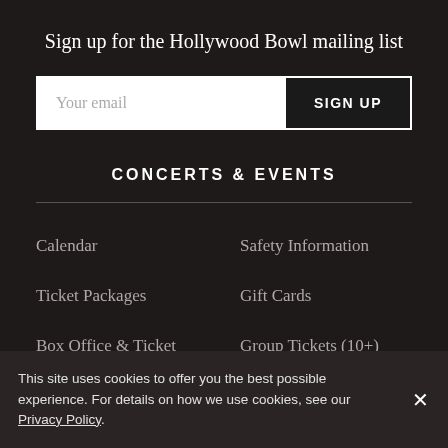Sign up for the Hollywood Bowl mailing list
Your email
SIGN UP
CONCERTS & EVENTS
Calendar
Safety Information
Ticket Packages
Gift Cards
Box Office & Ticket Policies
Group Tickets (10+)
Special Events
This site uses cookies to offer you the best possible experience. For details on how we use cookies, see our Privacy Policy.